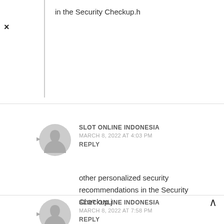in the Security Checkup.h
SLOT ONLINE INDONESIA
MARCH 8, 2022 AT 4:03 PM
REPLY

other personalized security recommendations in the Security Checkup.j
SLOT ONLINE INDONESIA
MARCH 8, 2022 AT 7:58 PM
REPLY